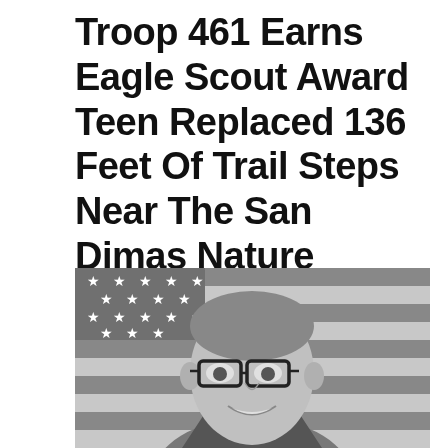Troop 461 Earns Eagle Scout Award Teen Replaced 136 Feet Of Trail Steps Near The San Dimas Nature Center
[Figure (photo): Black and white portrait photo of a teenage boy wearing glasses and a collared uniform, smiling, with an American flag in the background.]